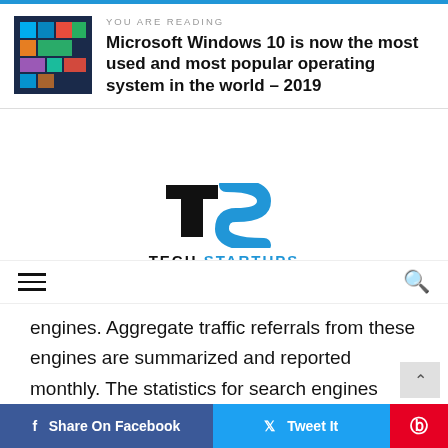YOU ARE READING
Microsoft Windows 10 is now the most used and most popular operating system in the world – 2019
[Figure (logo): Tech Startups logo with TS monogram in blue and black]
engines. Aggregate traffic referrals from these engines are summarized and reported monthly. The statistics for search engines include both organic and sponsored referrals. You can read more about the methodology at NetMarketshare website.
Share On Facebook | Tweet It | Pinterest